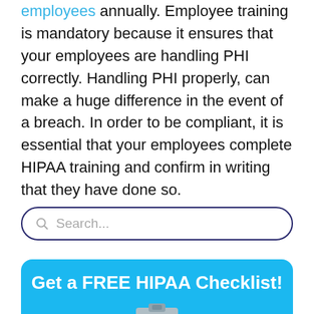employees annually. Employee training is mandatory because it ensures that your employees are handling PHI correctly. Handling PHI properly, can make a huge difference in the event of a breach. In order to be compliant, it is essential that your employees complete HIPAA training and confirm in writing that they have done so.
[Figure (other): Search bar with magnifying glass icon and placeholder text 'Search...', dark navy rounded border]
[Figure (infographic): Blue CTA banner with white bold text 'Get a FREE HIPAA Checklist!' and a clipboard icon partially visible at bottom]